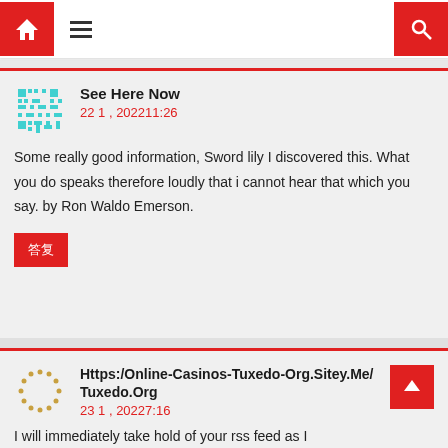Navigation bar with home icon, menu icon, search icon
See Here Now
22 1 , 202211:26
Some really good information, Sword lily I discovered this. What you do speaks therefore loudly that i cannot hear that which you say. by Ron Waldo Emerson.
Https:/Online-Casinos-Tuxedo-Org.Sitey.Me/ Tuxedo.Org
23 1 , 20227:16
I will immediately take hold of your rss feed as I